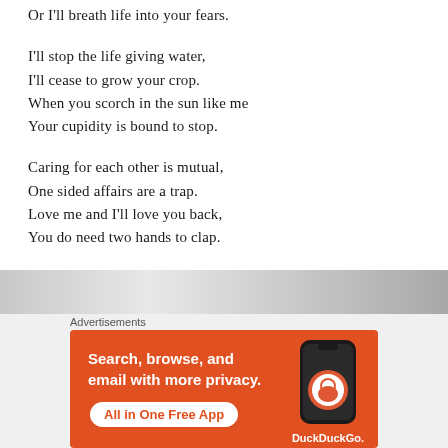Or I'll breath life into your fears.
I'll stop the life giving water,
I'll cease to grow your crop.
When you scorch in the sun like me
Your cupidity is bound to stop.
Caring for each other is mutual,
One sided affairs are a trap.
Love me and I'll love you back,
You do need two hands to clap.
[Figure (screenshot): DuckDuckGo advertisement banner with orange background showing phone and text: Search, browse, and email with more privacy. All in One Free App.]